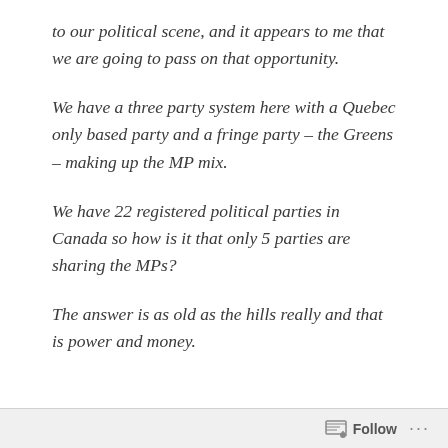to our political scene, and it appears to me that we are going to pass on that opportunity.
We have a three party system here with a Quebec only based party and a fringe party – the Greens – making up the MP mix.
We have 22 registered political parties in Canada so how is it that only 5 parties are sharing the MPs?
The answer is as old as the hills really and that is power and money.
Follow ...